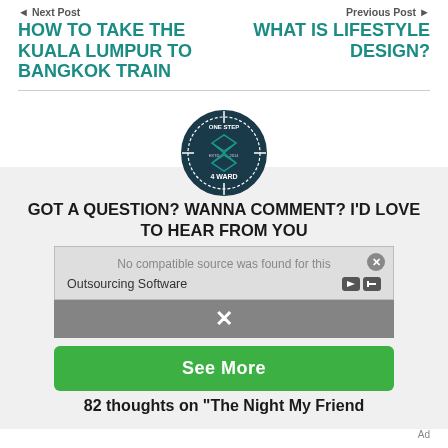◄ Next Post
HOW TO TAKE THE KUALA LUMPUR TO BANGKOK TRAIN
Previous Post ►
WHAT IS LIFESTYLE DESIGN?
[Figure (logo): One Step 4Ward circular logo with crosshair design]
GOT A QUESTION? WANNA COMMENT? I'D LOVE TO HEAR FROM YOU
82 thoughts on "The Night My Friend
No compatible source was found for this
Outsourcing Software
See More
Ad